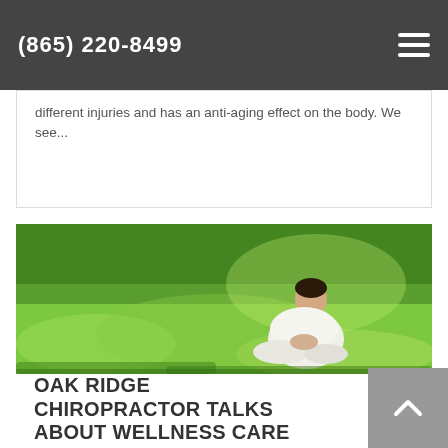(865) 220-8499
different injuries and has an anti-aging effect on the body. We see...
[Figure (photo): Person sitting in meditation pose on green grass, wearing white clothing, outdoors with lush green background]
OAK RIDGE CHIROPRACTOR TALKS ABOUT WELLNESS CARE
Oak Ridge Chiropractor Talks about Wellness Care Being healthy from a physical perspective and being healthy from a wellness perspective are two